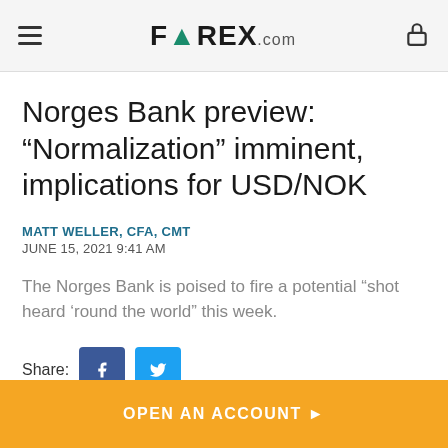FOREX.com
Norges Bank preview: “Normalization” imminent, implications for USD/NOK
MATT WELLER, CFA, CMT
JUNE 15, 2021 9:41 AM
The Norges Bank is poised to fire a potential “shot heard ‘round the world” this week.
Share:
OPEN AN ACCOUNT ►